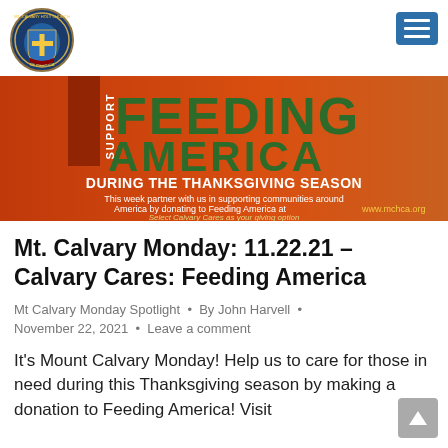[Figure (logo): Mt. Calvary Holy Church of America circular shield logo]
[Figure (infographic): Feeding America banner: orange/red background with 'SUPPORT FEEDING AMERICA DURING THE THANKSGIVING SEASON' text, donation info at www.mchca.org, select Calvary Cares as giving option]
Mt. Calvary Monday: 11.22.21 – Calvary Cares: Feeding America
Mt Calvary Monday Spotlight • By John Harvell • November 22, 2021 • Leave a comment
It's Mount Calvary Monday! Help us to care for those in need during this Thanksgiving season by making a donation to Feeding America! Visit